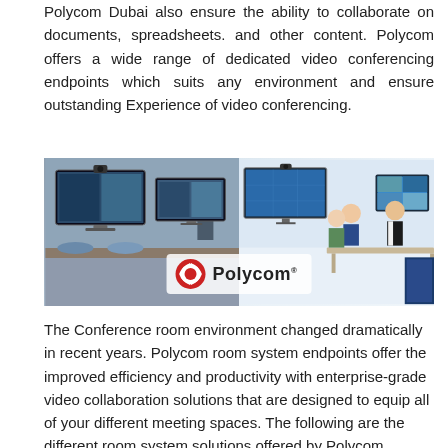Polycom Dubai also ensure the ability to collaborate on documents, spreadsheets. and other content. Polycom offers a wide range of dedicated video conferencing endpoints which suits any environment and ensure outstanding Experience of video conferencing.
[Figure (photo): Polycom video conferencing room setup showing conference room on the left with large display screens and a camera, and an illustrated office meeting scene on the right, with the Polycom logo centered at the bottom.]
The Conference room environment changed dramatically in recent years. Polycom room system endpoints offer the improved efficiency and productivity with enterprise-grade video collaboration solutions that are designed to equip all of your different meeting spaces. The following are the different room system solutions offered by Polycom.